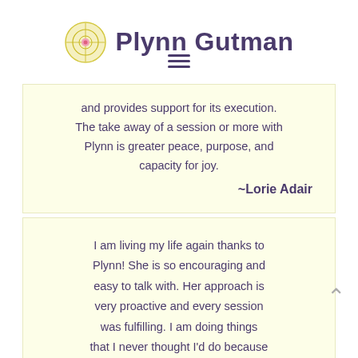Plynn Gutman
powerful. Through the art of listening and reflecting, she uncovers the client's innermost thoughts, needs and goals. Further, she assists in developing a plan...
and provides support for its execution. The take away of a session or more with Plynn is greater peace, purpose, and capacity for joy.
~Lorie Adair
I am living my life again thanks to Plynn! She is so encouraging and easy to talk with. Her approach is very proactive and every session was fulfilling. I am doing things that I never thought I'd do because...